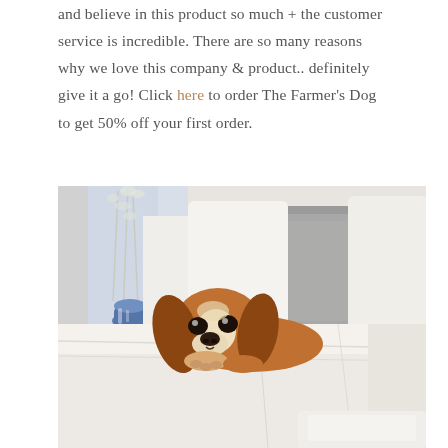and believe in this product so much + the customer service is incredible. There are so many reasons why we love this company & product.. definitely give it a go! Click here to order The Farmer's Dog to get 50% off your first order.
[Figure (photo): A Cavalier King Charles Spaniel dog resting its chin on the edge of a white bed with crisp white linens and a grey pillow. In the background there is a blue and white vase with white flowers near a window.]